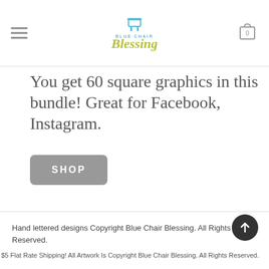Blue Chair Blessing
You get 60 square graphics in this bundle! Great for Facebook, Instagram.
SHOP
Hand lettered designs Copyright Blue Chair Blessing. All Rights Reserved.
$5 Flat Rate Shipping! All Artwork Is Copyright Blue Chair Blessing. All Rights Reserved.